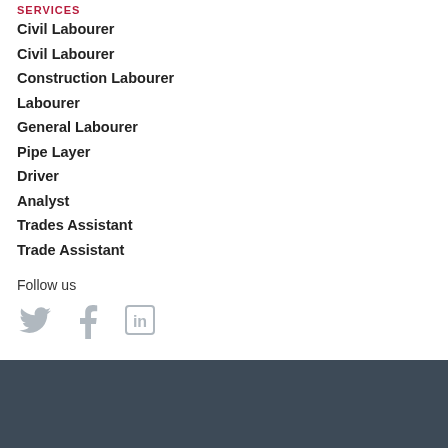SERVICES
Civil Labourer
Civil Labourer
Construction Labourer
Labourer
General Labourer
Pipe Layer
Driver
Analyst
Trades Assistant
Trade Assistant
Follow us
[Figure (illustration): Social media icons: Twitter bird, Facebook f, LinkedIn in]